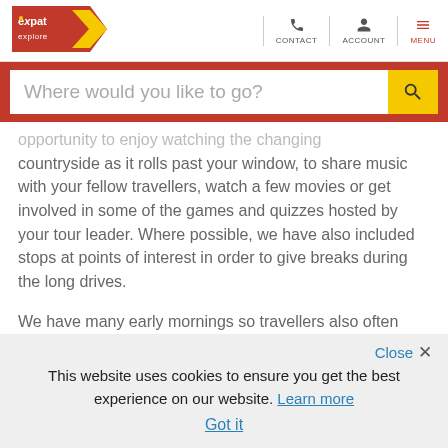[Figure (logo): Expat Explore logo — red badge with white text 'expat explore' and yellow chevron arrow pointing right]
CONTACT
ACCOUNT
MENU
Where would you like to go?
opportunity to enjoy watching the changing countryside as it rolls past your window, to share music with your fellow travellers, watch a few movies or get involved in some of the games and quizzes hosted by your tour leader. Where possible, we have also included stops at points of interest in order to give breaks during the long drives.
We have many early mornings so travellers also often take the time on the coach to rest. We make regular
Close
This website uses cookies to ensure you get the best experience on our website. Learn more
Got it